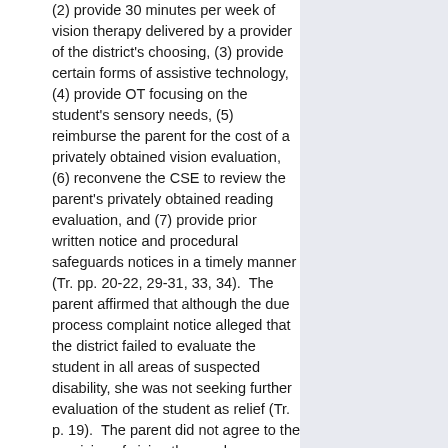(2) provide 30 minutes per week of vision therapy delivered by a provider of the district's choosing, (3) provide certain forms of assistive technology, (4) provide OT focusing on the student's sensory needs, (5) reimburse the parent for the cost of a privately obtained vision evaluation, (6) reconvene the CSE to review the parent's privately obtained reading evaluation, and (7) provide prior written notice and procedural safeguards notices in a timely manner (Tr. pp. 20-22, 29-31, 33, 34).  The parent affirmed that although the due process complaint notice alleged that the district failed to evaluate the student in all areas of suspected disability, she was not seeking further evaluation of the student as relief (Tr. p. 19).  The parent did not agree to the provision of vision therapy by a